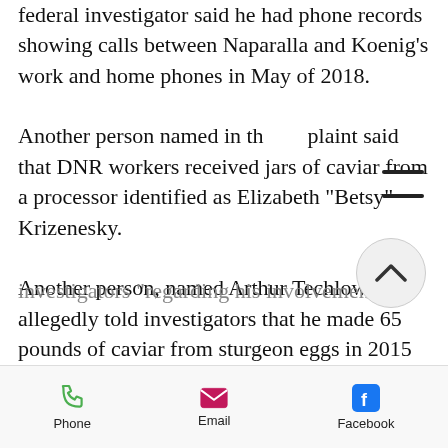federal investigator said he had phone records showing calls between Naparalla and Koenig's work and home phones in May of 2018. Another person named in the complaint said that DNR workers received jars of caviar from a processor identified as Elizabeth "Betsy" Krizenesky. Another person, named Arthur Techlow, allegedly told investigators that he made 65 pounds of caviar from sturgeon eggs in 2015 and obtained most of the eggs from Koenigs, picking them up "after hours." The complaint accuses Koenigs of being untruthful in statements he made to investigators "regarding his involvement
Phone   Email   Facebook